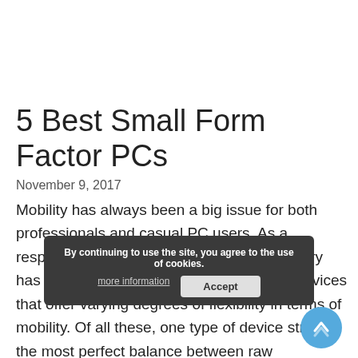5 Best Small Form Factor PCs
November 9, 2017
Mobility has always been a big issue for both professionals and casual PC users. As a response to this growing need, the IT industry has developed several new categories of devices that offer varying degrees of flexibility in terms of mobility. Of all these, one type of device strikes the most perfect balance between raw processing power and flexibility:the small form factor PCs, or the mini PCs.
By continuing to use the site, you agree to the use of cookies. more information  Accept